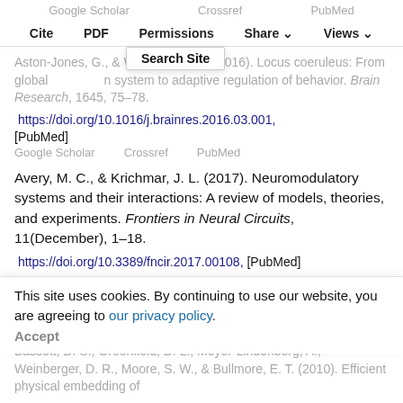Google Scholar   Crossref   PubMed
Cite   PDF   Permissions   Share   Views
Aston-Jones, G., & Waterhouse, B. (2016). Locus coeruleus: From global modulation system to adaptive regulation of behavior. Brain Research, 1645, 75–78. https://doi.org/10.1016/j.brainres.2016.03.001, [PubMed]
Google Scholar   Crossref   PubMed
Avery, M. C., & Krichmar, J. L. (2017). Neuromodulatory systems and their interactions: A review of models, theories, and experiments. Frontiers in Neural Circuits, 11(December), 1–18. https://doi.org/10.3389/fncir.2017.00108, [PubMed]
Google Scholar   Crossref   PubMed
This site uses cookies. By continuing to use our website, you are agreeing to our privacy policy. Accept
Bassett, D. S., Greenfield, D. L., Meyer-Lindenberg, A., Weinberger, D. R., Moore, S. W., & Bullmore, E. T. (2010). Efficient physical embedding of